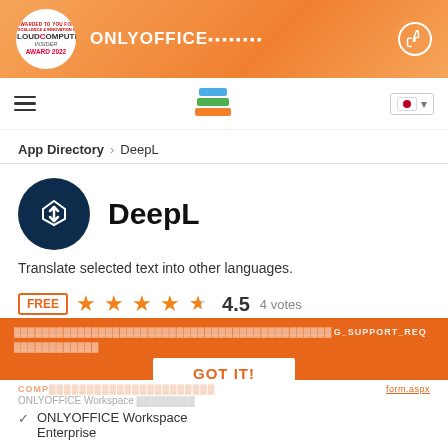[Figure (other): Top orange banner with Cloud Computing Insider Award 2022 badge, ONLYOFFICE text and thumbs-up icon]
ONLYOFFICE (navigation bar with hamburger menu, stack logo, Japanese flag)
App Directory > DeepL
DeepL
Translate selected text into other languages.
FREE ★★★★½ 4.5   4 votes
COMPATIBILITY ... GOT IT! ... ONLYOFFICE Workspace ... form.aspx
ONLYOFFICE Workspace Enterprise